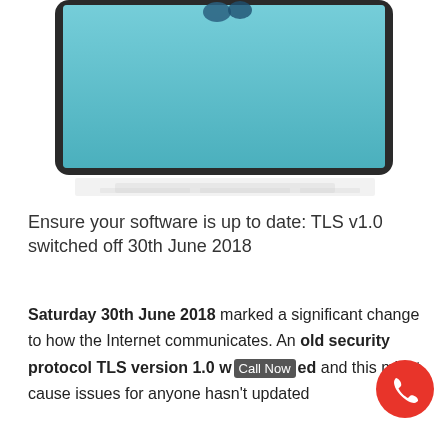[Figure (screenshot): Partial view of a tablet device showing a teal/turquoise screen with some object on the display, with a reflection below the device]
Ensure your software is up to date: TLS v1.0 switched off 30th June 2018
Saturday 30th June 2018 marked a significant change to how the Internet communicates. An old security protocol TLS version 1.0 was switched off and this might cause issues for anyone hasn't updated